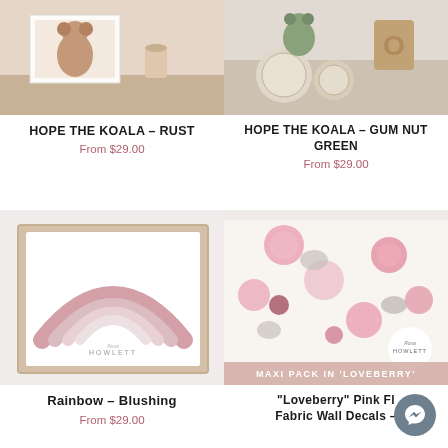[Figure (photo): Product photo of Hope The Koala in Rust color on a shelf]
HOPE THE KOALA – Rust
From $29.00
[Figure (photo): Product photo of Hope The Koala in Gum Nut Green color]
HOPE THE KOALA – GUM NUT GREEN
From $29.00
[Figure (photo): Product photo of Rainbow Blushing print in a frame]
Rainbow – Blushing
From $29.00
[Figure (photo): Product photo of Loveberry Pink Floral Fabric Wall Decals Maxi Pack]
"Loveberry" Pink Floral Fabric Wall Decals – Multipack
From $29.00